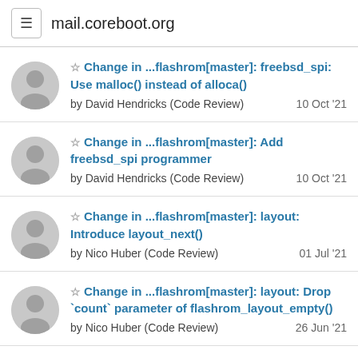mail.coreboot.org
Change in ...flashrom[master]: freebsd_spi: Use malloc() instead of alloca() by David Hendricks (Code Review) 10 Oct '21
Change in ...flashrom[master]: Add freebsd_spi programmer by David Hendricks (Code Review) 10 Oct '21
Change in ...flashrom[master]: layout: Introduce layout_next() by Nico Huber (Code Review) 01 Jul '21
Change in ...flashrom[master]: layout: Drop `count` parameter of flashrom_layout_empty() by Nico Huber (Code Review) 26 Jun '21
Change in ...flashrom[master]: layout: Introduce